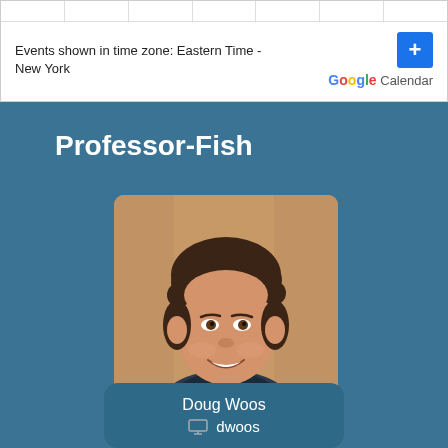Events shown in time zone: Eastern Time - New York
[Figure (screenshot): Google Calendar logo with plus button]
Professor-Fish
[Figure (photo): Headshot of a young man with curly brown hair smiling, in front of a wooden background]
Doug Woos
dwoos